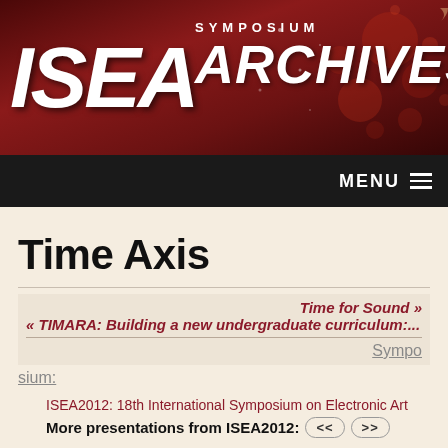[Figure (logo): ISEA Symposium Archives logo banner with dark red background and decorative bokeh/bubble effects. White italic bold text reading 'ISEA' on left and 'SYMPOSIUM ARCHIVES' on right.]
MENU
Time Axis
Time for Sound »
« TIMARA: Building a new undergraduate curriculum:...
Symposium:
ISEA2012: 18th International Symposium on Electronic Art
More presentations from ISEA2012: << >>
Presentation Title: